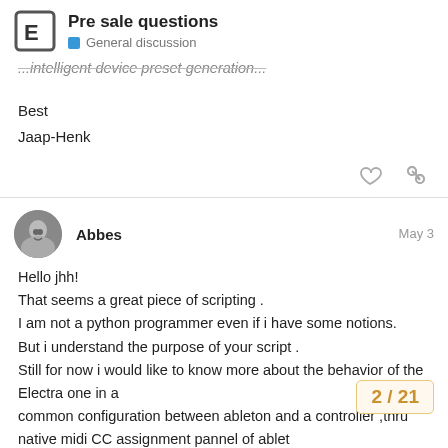Pre sale questions | General discussion
...intelligent device preset generation...
Best
Jaap-Henk
Abbes — May 3
Hello jhh!
That seems a great piece of scripting .
I am not a python programmer even if i have some notions.
But i understand the purpose of your script .
Still for now i would like to know more about the behavior of the Electra one in a
common configuration between ableton and a controller ,thru
native midi CC assignment pannel of ablet
simply . suposing i have 2 vsti . each vsti h
2 / 21